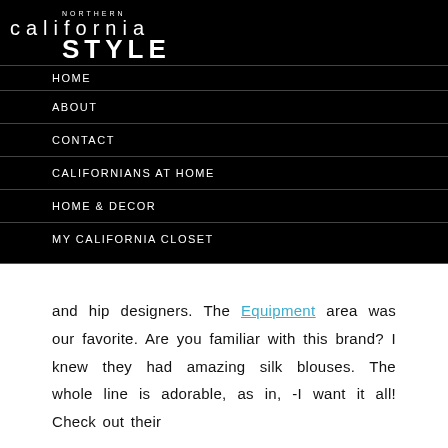NORTHERN california STYLE
HOME
ABOUT
CONTACT
CALIFORNIANS AT HOME
HOME & DECOR
MY CALIFORNIA CLOSET
and hip designers. The Equipment area was our favorite. Are you familiar with this brand? I knew they had amazing silk blouses. The whole line is adorable, as in, -I want it all! Check out their